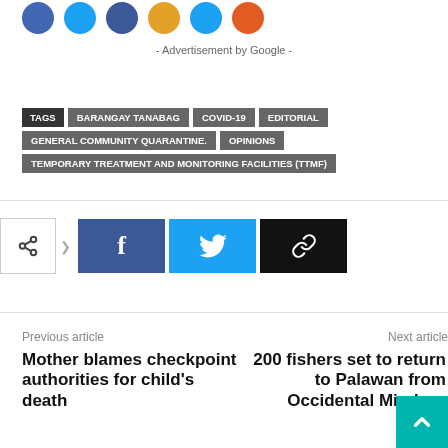[Figure (other): Row of colorful social media icon circles (blue, light blue, blue, orange/gold, blue, orange-red)]
- Advertisement by Google -
TAGS  BARANGAY TANABAG  COVID-19  EDITORIAL  GENERAL COMMUNITY QUARANTINE.  OPINIONS  TEMPORARY TREATMENT AND MONITORING FACILITIES (TTMF)
[Figure (other): Share buttons: share icon box, Facebook (f) button in blue, Twitter bird button in light blue, link/chain icon button in black]
Previous article
Mother blames checkpoint authorities for child's death
Next article
200 fishers set to return to Palawan from Occidental Mindoro